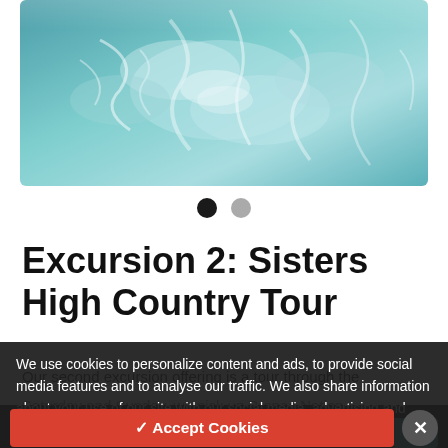[Figure (photo): Aerial or close-up view of turbulent blue-green water/rapids, cropped at top]
● ●
Excursion 2: Sisters High Country Tour
Our second excursion offering is a tour through the
We use cookies to personalize content and ads, to provide social media features and to analyse our traffic. We also share information about your use of our site with our social media, advertising and analytics affiliates.
Saturday and Sunday, we pick up Bronco Nation,
Sports Complex staging area ... the expo at the Umatilla
top of McKenzie Pass to check out the Dee Wright